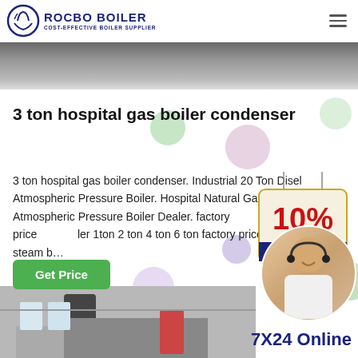ROCBO BOILER — COST-EFFECTIVE BOILER SUPPLIER
[Figure (photo): Top portion of boiler equipment image, dark industrial photo]
3 ton hospital gas boiler condenser
3 ton hospital gas boiler condenser. Industrial 20 Ton Diesel Atmospheric Pressure Boiler. Hospital Natural Gas Steam Atmospheric Pressure Boiler Dealer. factory price boiler 1ton 2 ton 4 ton 6 ton factory price gas steam boiler
[Figure (illustration): 10% DISCOUNT promotional badge/sign]
[Figure (photo): Customer service representative with headset smiling]
[Figure (photo): Industrial boiler equipment installation photo]
7X24 Online